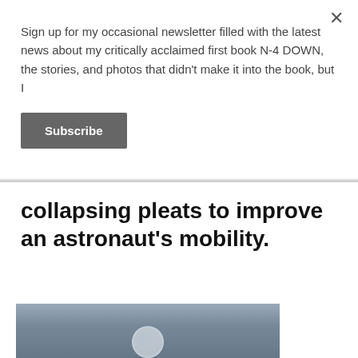Sign up for my occasional newsletter filled with the latest news about my critically acclaimed first book N-4 DOWN, the stories, and photos that didn't make it into the book, but I
Subscribe
collapsing pleats to improve an astronaut's mobility.
[Figure (photo): Photograph of an astronaut in a spacesuit with a helmet visible against a gray-blue sky background]